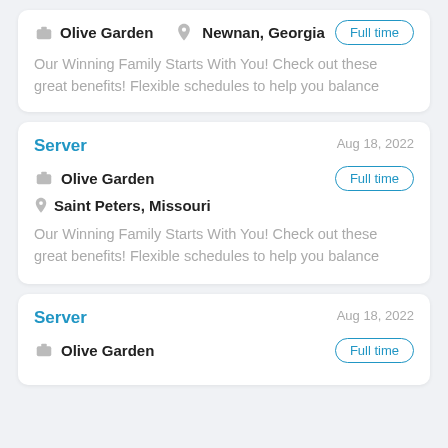Olive Garden | Newnan, Georgia | Full time | Our Winning Family Starts With You! Check out these great benefits! Flexible schedules to help you balance
Server | Aug 18, 2022 | Olive Garden | Full time | Saint Peters, Missouri | Our Winning Family Starts With You! Check out these great benefits! Flexible schedules to help you balance
Server | Aug 18, 2022 | Olive Garden | Full time